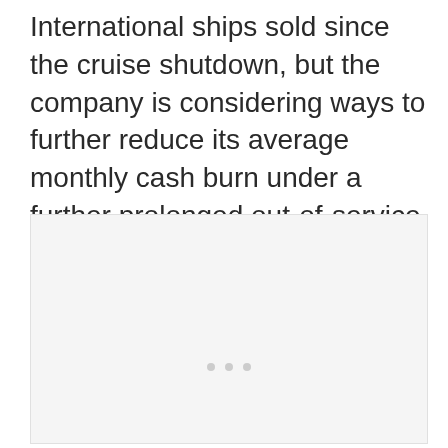International ships sold since the cruise shutdown, but the company is considering ways to further reduce its average monthly cash burn under a further prolonged out-of-service scenario and during re-start of operations.
[Figure (other): Light gray placeholder image region with three small gray dots near the bottom center, indicating a loading or content placeholder area.]